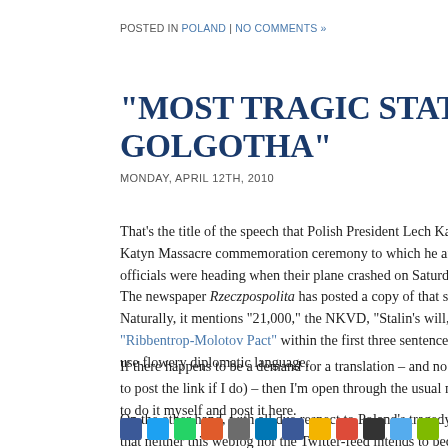POSTED IN POLAND | NO COMMENTS »
“MOST TRAGIC STATION ON THE POLISH GOLGOTHA”
MONDAY, APRIL 12TH, 2010
That’s the title of the speech that Polish President Lech Kaczyński was to have given at the Katyn Massacre commemoration ceremony to which he and his party of almost 100 officials were heading when their plane crashed on Saturday. That title is now…
The newspaper Rzeczpospolita has posted a copy of that speech here – in Polish. Naturally, it mentions “21,000,” the NKVD, “Stalin’s will,” the “Third Reich” and the “Ribbentrop-Molotov Pact” within the first three sentences; Kaczyński wasn’t one to use flowery diplomatic language.
If there happens to be a demand for a translation – and no one can find it elsewhere (let me know to post the link if I do) – then I’m open through the usual media (e-mail or T…) to do it myself and post it here.
On the other hand, with all due respect to Poland’s tragedy of last Saturday, I should mention that neither this weblog nor the Twitter-feed intends to become “all Kaczyński, all the time.”